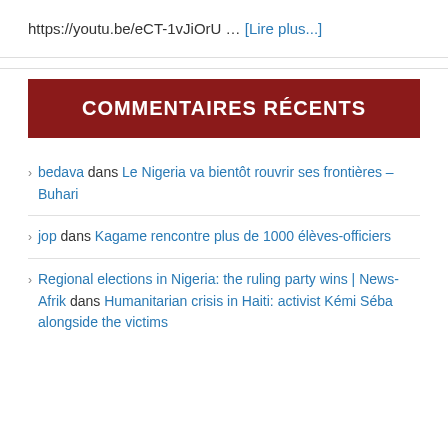https://youtu.be/eCT-1vJiOrU … [Lire plus...]
COMMENTAIRES RÉCENTS
bedava dans Le Nigeria va bientôt rouvrir ses frontières – Buhari
jop dans Kagame rencontre plus de 1000 élèves-officiers
Regional elections in Nigeria: the ruling party wins | News-Afrik dans Humanitarian crisis in Haiti: activist Kémi Séba alongside the victims